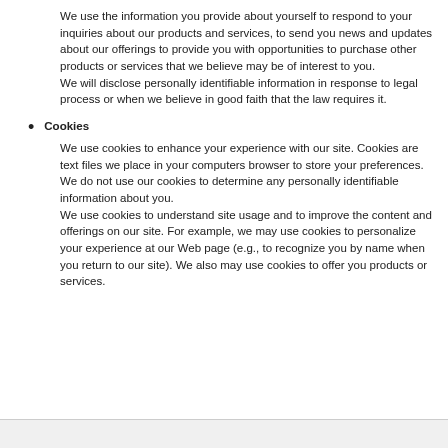We use the information you provide about yourself to respond to your inquiries about our products and services, to send you news and updates about our offerings to provide you with opportunities to purchase other products or services that we believe may be of interest to you.
We will disclose personally identifiable information in response to legal process or when we believe in good faith that the law requires it.
Cookies
We use cookies to enhance your experience with our site. Cookies are text files we place in your computers browser to store your preferences. We do not use our cookies to determine any personally identifiable information about you.
We use cookies to understand site usage and to improve the content and offerings on our site. For example, we may use cookies to personalize your experience at our Web page (e.g., to recognize you by name when you return to our site). We also may use cookies to offer you products or services.